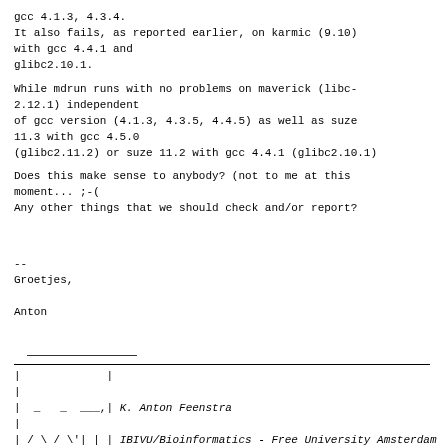gcc 4.1.3, 4.3.4.
It also fails, as reported earlier, on karmic (9.10)
with gcc 4.4.1 and
glibc2.10.1.
While mdrun runs with no problems on maverick (libc-
2.12.1) independent
of gcc version (4.1.3, 4.3.5, 4.4.5) as well as suze
11.3 with gcc 4.5.0
(glibc2.11.2) or suze 11.2 with gcc 4.4.1 (glibc2.10.1)
Does this make sense to anybody? (not to me at this
moment... ;-(
Any other things that we should check and/or report?
--
Groetjes,

Anton
| |
|
|  _   _  ___,| K. Anton Feenstra
|
| / \ / \'| | | IBIVU/Bioinformatics - Free University Amsterdam   |
|( |   )| | | De Boelelaan 1083A - 1081 HV Amsterdam - Netherlands |
|_) (_) (_|_|_| Tel +31 20 59 87783 - Fax +31 20 59